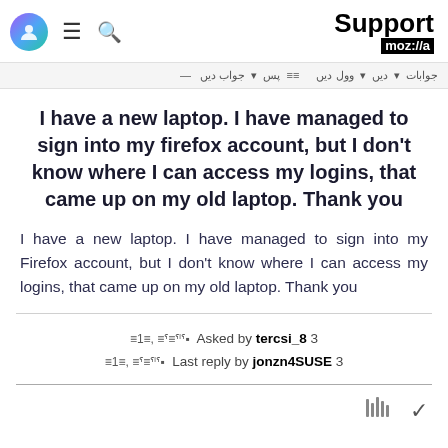Support moz://a
— جوابات • پس • وول دیں ≡≡≡ دیں •
I have a new laptop. I have managed to sign into my firefox account, but I don't know where I can access my logins, that came up on my old laptop. Thank you
I have a new laptop. I have managed to sign into my Firefox account, but I don't know where I can access my logins, that came up on my old laptop. Thank you
Asked by tercsi_8 3 | Last reply by jonzn4SUSE 3